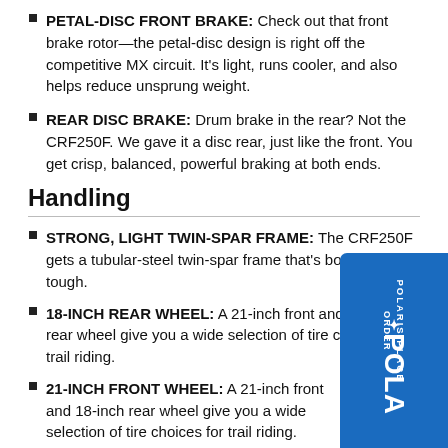PETAL-DISC FRONT BRAKE: Check out that front brake rotor—the petal-disc design is right off the competitive MX circuit. It's light, runs cooler, and also helps reduce unsprung weight.
REAR DISC BRAKE: Drum brake in the rear? Not the CRF250F. We gave it a disc rear, just like the front. You get crisp, balanced, powerful braking at both ends.
Handling
STRONG, LIGHT TWIN-SPAR FRAME: The CRF250F gets a tubular-steel twin-spar frame that's both light and tough.
18-INCH REAR WHEEL: A 21-inch front and 18-inch rear wheel give you a wide selection of tire choices for trail riding.
21-INCH FRONT WHEEL: A 21-inch front and 18-inch rear wheel give you a wide selection of tire choices for trail riding.
PRO-LINK® REAR SUSPENSION: Thanks to our single-shock Pro-Link® rear suspension and Showa® damper, the CRF250F delivers excellent comfort, traction and…